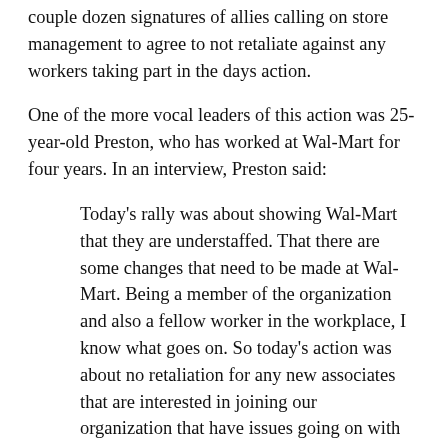couple dozen signatures of allies calling on store management to agree to not retaliate against any workers taking part in the days action.
One of the more vocal leaders of this action was 25-year-old Preston, who has worked at Wal-Mart for four years. In an interview, Preston said:
Today’s rally was about showing Wal-Mart that they are understaffed. That there are some changes that need to be made at Wal-Mart. Being a member of the organization and also a fellow worker in the workplace, I know what goes on. So today’s action was about no retaliation for any new associates that are interested in joining our organization that have issues going on with them within their workplace.
One reason for the workers’ confidence might have something to do with the story of Larry Deladan, a six-